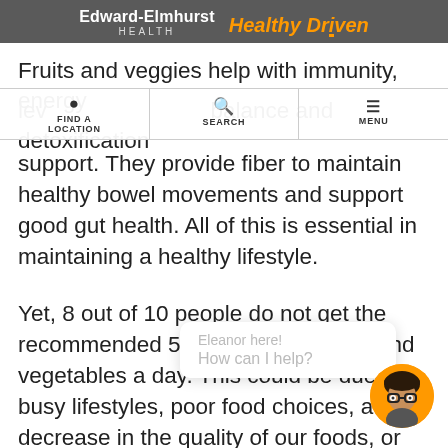Edward-Elmhurst HEALTH | Healthy Driven
[Figure (screenshot): Navigation bar with FIND A LOCATION, SEARCH, and MENU options]
Fruits and veggies help with immunity, energy levels, mood, balance and detoxification support. They provide fiber to maintain healthy bowel movements and support good gut health. All of this is essential in maintaining a healthy lifestyle.
Yet, 8 out of 10 people do not get the recommended 5-9 servings of fruits and vegetables a day. This could be due to busy lifestyles, poor food choices, a decrease in the quality of our foods, or simply a lack of access to healthier choices.
Regardless, these hindrances create a g...